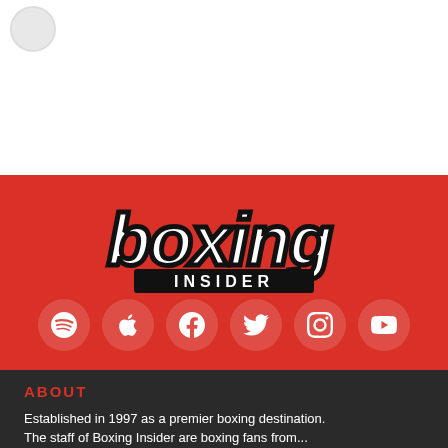[Figure (logo): Boxing Insider logo in white italic stylized text on red background]
[Figure (infographic): Row of 6 social media icon buttons (Spotify, Apple, Facebook, Twitter, Instagram, YouTube) as white icons on semi-transparent dark red circles]
ABOUT
Established in 1997 as a premier boxing destination. The staff of Boxing Insider are boxing fans from...